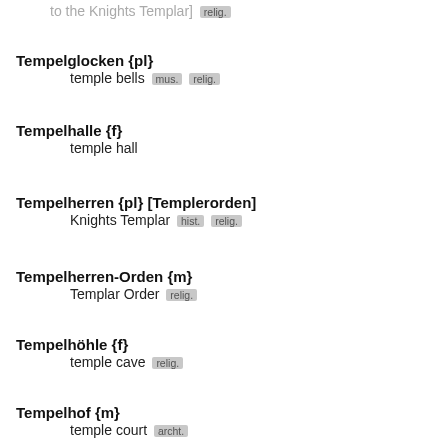to the Knights Templar] relig.
Tempelglocken {pl} — temple bells mus. relig.
Tempelhalle {f} — temple hall
Tempelherren {pl} [Templerorden] — Knights Templar hist. relig.
Tempelherren-Orden {m} — Templar Order relig.
Tempelhöhle {f} — temple cave relig.
Tempelhof {m} — temple court archt.